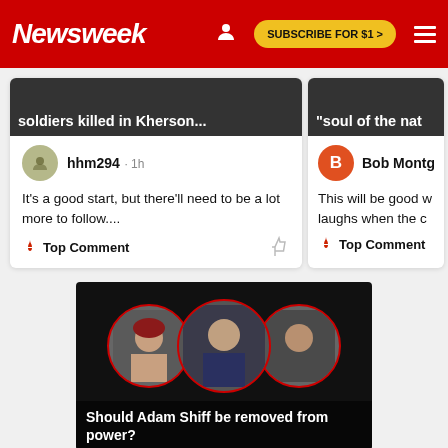Newsweek | SUBSCRIBE FOR $1 >
soldiers killed in Kherson...
"soul of the nat
hhm294 · 1h
It's a good start, but there'll need to be a lot more to follow.... 🔥 Top Comment
Bob Montg
This will be good w laughs when the c 🔥 Top Comment
[Figure (photo): Three people in circular frames with red borders on dark background, with poll question text overlay reading: Should Adam Shiff be removed from power?]
Should Adam Shiff be removed from power?